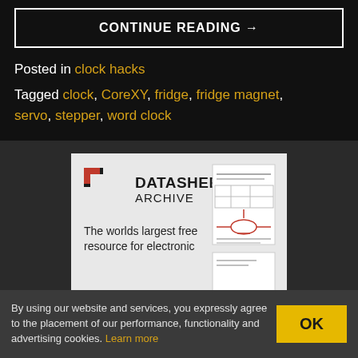CONTINUE READING →
Posted in clock hacks
Tagged clock, CoreXY, fridge, fridge magnet, servo, stepper, word clock
[Figure (logo): Datasheet Archive advertisement banner with logo and document illustration, text reads: The worlds largest free resource for electronic]
By using our website and services, you expressly agree to the placement of our performance, functionality and advertising cookies. Learn more